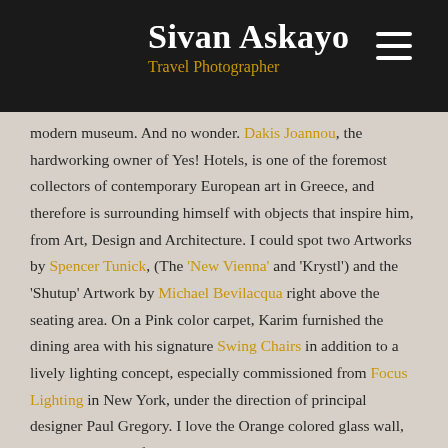Sivan Askayo
Travel Photographer
modern museum. And no wonder. Dakis Joannou, the hardworking owner of Yes! Hotels, is one of the foremost collectors of contemporary European art in Greece, and therefore is surrounding himself with objects that inspire him, from Art, Design and Architecture. I could spot two Artworks by Spencer Tunick, (The 'New Vienna' and 'Krystl') and the 'Shutup' Artwork by Michael Bevilacqua right above the seating area. On a Pink color carpet, Karim furnished the dining area with his signature Swing Chairs in addition to a lively lighting concept, especially commissioned from Focus Lighting in New York, under the direction of principal designer Paul Gregory. I love the Orange colored glass wall, which made a perfect dividing wall between the Bar and the Dining area. Unfortunately, I couldn't really dine at Semiramis restaurant, as it was closed due to a